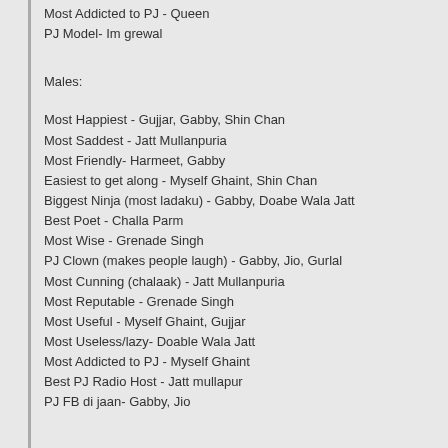Most Addicted to PJ - Queen
PJ Model- Im grewal
Males:
Most Happiest - Gujjar, Gabby, Shin Chan
Most Saddest - Jatt Mullanpuria
Most Friendly- Harmeet, Gabby
Easiest to get along - Myself Ghaint, Shin Chan
Biggest Ninja (most ladaku) - Gabby, Doabe Wala Jatt
Best Poet - Challa Parm
Most Wise - Grenade Singh
PJ Clown (makes people laugh) - Gabby, Jio, Gurlal
Most Cunning (chalaak) - Jatt Mullanpuria
Most Reputable - Grenade Singh
Most Useful - Myself Ghaint, Gujjar
Most Useless/lazy- Doable Wala Jatt
Most Addicted to PJ - Myself Ghaint
Best PJ Radio Host - Jatt mullapur
PJ FB di jaan- Gabby, Jio